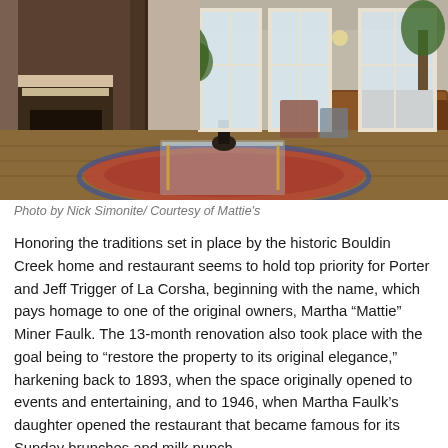[Figure (photo): Interior of Mattie's restaurant showing an elegant living room with a decorative fireplace, tufted leather sofa, glass coffee table on a patterned rug, and tall windows letting in natural light. Columns and plants visible in the background.]
Photo by Nick Simonite/ Courtesy of Mattie's
Honoring the traditions set in place by the historic Bouldin Creek home and restaurant seems to hold top priority for Porter and Jeff Trigger of La Corsha, beginning with the name, which pays homage to one of the original owners, Martha “Mattie” Miner Faulk. The 13-month renovation also took place with the goal being to “restore the property to its original elegance,” harkening back to 1893, when the space originally opened to events and entertaining, and to 1946, when Martha Faulk’s daughter opened the restaurant that became famous for its Sunday brunches and milk punch.